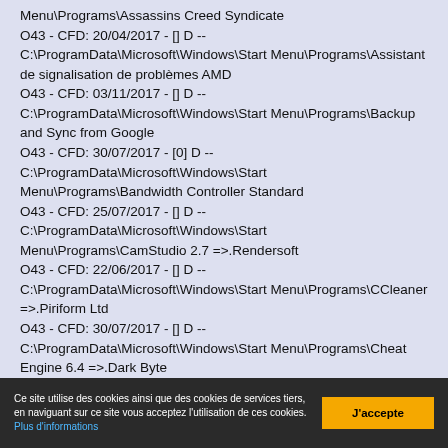Menu\Programs\Assassins Creed Syndicate
O43 - CFD: 20/04/2017 - [] D -- C:\ProgramData\Microsoft\Windows\Start Menu\Programs\Assistant de signalisation de problèmes AMD
O43 - CFD: 03/11/2017 - [] D -- C:\ProgramData\Microsoft\Windows\Start Menu\Programs\Backup and Sync from Google
O43 - CFD: 30/07/2017 - [0] D -- C:\ProgramData\Microsoft\Windows\Start Menu\Programs\Bandwidth Controller Standard
O43 - CFD: 25/07/2017 - [] D -- C:\ProgramData\Microsoft\Windows\Start Menu\Programs\CamStudio 2.7 =>.Rendersoft
O43 - CFD: 22/06/2017 - [] D -- C:\ProgramData\Microsoft\Windows\Start Menu\Programs\CCleaner =>.Piriform Ltd
O43 - CFD: 30/07/2017 - [] D -- C:\ProgramData\Microsoft\Windows\Start Menu\Programs\Cheat Engine 6.4 =>.Dark Byte
Ce site utilise des cookies ainsi que des cookies de services tiers, en naviguant sur ce site vous acceptez l'utilisation de ces cookies. Plus d'informations